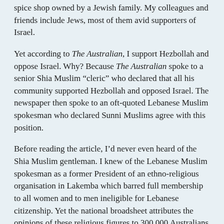spice shop owned by a Jewish family. My colleagues and friends include Jews, most of them avid supporters of Israel.
Yet according to The Australian, I support Hezbollah and oppose Israel. Why? Because The Australian spoke to a senior Shia Muslim “cleric” who declared that all his community supported Hezbollah and opposed Israel. The newspaper then spoke to an oft-quoted Lebanese Muslim spokesman who declared Sunni Muslims agree with this position.
Before reading the article, I’d never even heard of the Shia Muslim gentleman. I knew of the Lebanese Muslim spokesman as a former President of an ethno-religious organisation in Lakemba which barred full membership to all women and to men ineligible for Lebanese citizenship. Yet the national broadsheet attributes the opinions of these religious figures to 300,000 Australians who tick the "Muslim" box on their census forms. This same newspaper’s editorials consistently patronises Muslims for allegedly not embracing democracy and gender equality!
Within 24 hours of the latest terror scares in London and Glasgow, the paper has a front page report alleging some 2-3,000